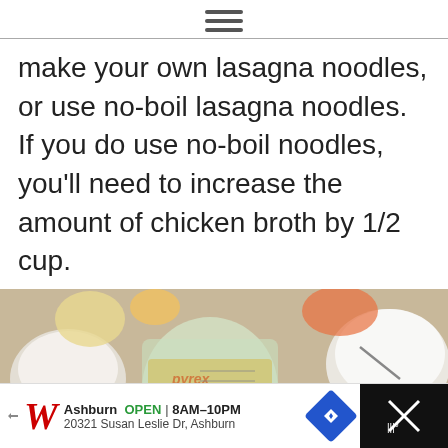make your own lasagna noodles, or use no-boil lasagna noodles. If you do use no-boil noodles, you’ll need to increase the amount of chicken broth by 1/2 cup.
[Figure (photo): Overhead photo of lasagna ingredients on a wooden cutting board: a Pyrex measuring cup with chicken broth, glass bowls with white cream/ricotta mixture, lasagna noodles, herbs (basil), and vegetables in background. Heart and share buttons visible on right side.]
Ashburn OPEN | 8AM-10PM 20321 Susan Leslie Dr, Ashburn